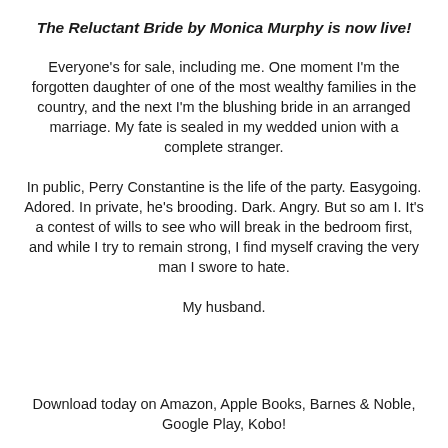The Reluctant Bride by Monica Murphy is now live!
Everyone's for sale, including me. One moment I'm the forgotten daughter of one of the most wealthy families in the country, and the next I'm the blushing bride in an arranged marriage. My fate is sealed in my wedded union with a complete stranger.
In public, Perry Constantine is the life of the party. Easygoing. Adored. In private, he's brooding. Dark. Angry. But so am I. It's a contest of wills to see who will break in the bedroom first, and while I try to remain strong, I find myself craving the very man I swore to hate.
My husband.
Download today on Amazon, Apple Books, Barnes & Noble, Google Play, Kobo!